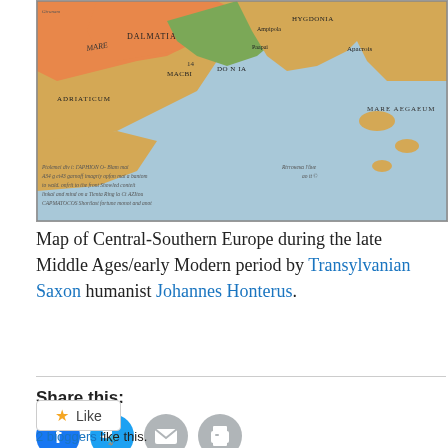[Figure (map): Historical map of Central-Southern Europe during the late Middle Ages/early Modern period, with handwritten annotations and Latin place names including DALMATIA, ADRIATICUM, MACBI, MARE AEGAEUM, HYGDONIA, and others. Colored in orange, green, blue and tan. Created by Johannes Honterus.]
Map of Central-Southern Europe during the late Middle Ages/early Modern period by Transylvanian Saxon humanist Johannes Honterus.
Share this:
2 bloggers like this.
16/10/2020
2 Replies